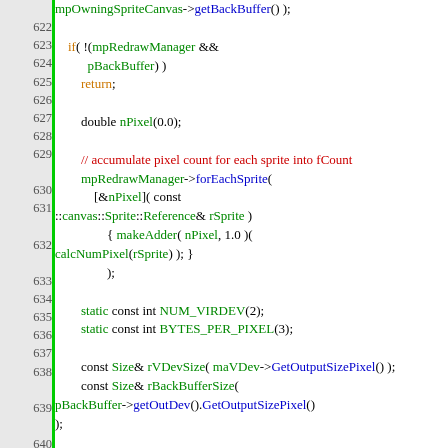[Figure (screenshot): Source code listing in C++ showing lines 622-644, with line numbers in gray gutter separated by green vertical bar, syntax highlighted: keywords in black, variables/types in green, methods in blue, comments in red, control keywords in orange.]